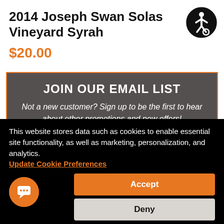2014 Joseph Swan Solas Vineyard Syrah
$20.00
JOIN OUR EMAIL LIST
Not a new customer? Sign up to be the first to hear about other promotions and new offers!
This website stores data such as cookies to enable essential site functionality, as well as marketing, personalization, and analytics. Update Cookie Preferences
Accept
Deny